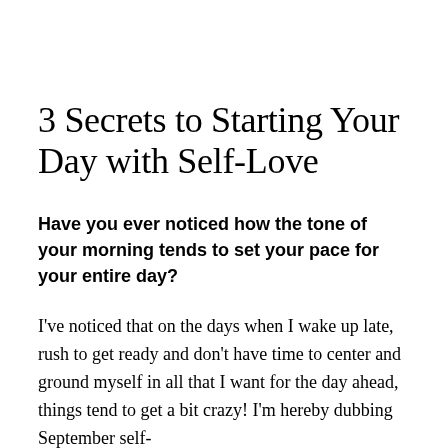3 Secrets to Starting Your Day with Self-Love
Have you ever noticed how the tone of your morning tends to set your pace for your entire day?
I've noticed that on the days when I wake up late, rush to get ready and don't have time to center and ground myself in all that I want for the day ahead, things tend to get a bit crazy! I'm hereby dubbing September self-